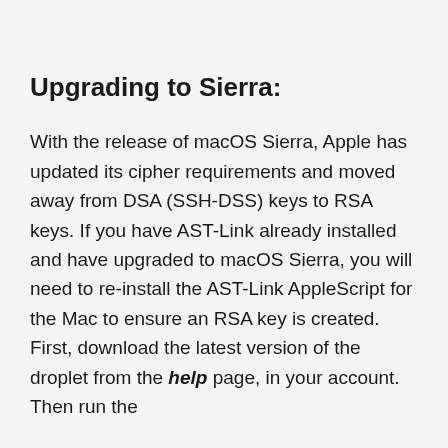Upgrading to Sierra:
With the release of macOS Sierra, Apple has updated its cipher requirements and moved away from DSA (SSH-DSS) keys to RSA keys. If you have AST-Link already installed and have upgraded to macOS Sierra, you will need to re-install the AST-Link AppleScript for the Mac to ensure an RSA key is created. First, download the latest version of the droplet from the help page, in your account. Then run the